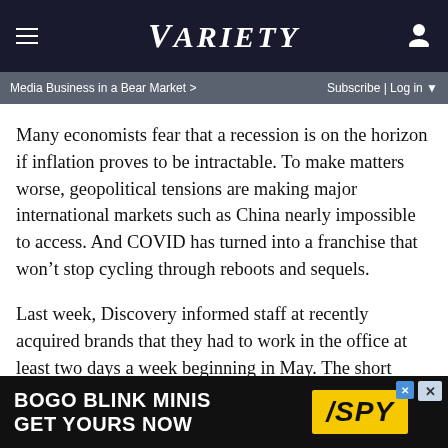VARIETY
Media Business in a Bear Market > Subscribe | Log in
Many economists fear that a recession is on the horizon if inflation proves to be intractable. To make matters worse, geopolitical tensions are making major international markets such as China nearly impossible to access. And COVID has turned into a franchise that won't stop cycling through reboots and sequels.
Last week, Discovery informed staff at recently acquired brands that they had to work in the office at least two days a week beginning in May. The short notice rattled many staffers.
Says one insider: “A lot of WarnerMedia people think they’re just going back into the office for the first time in two years
[Figure (other): Advertisement banner: BOGO BLINK MINIS GET YOURS NOW with SPY logo on yellow background]